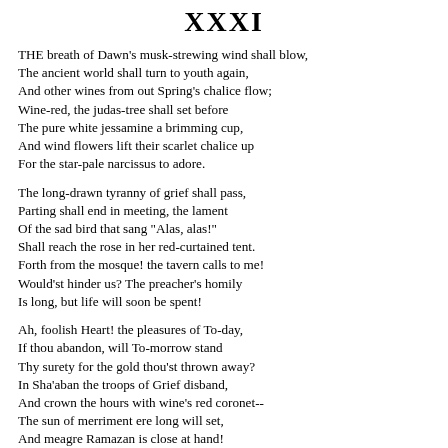XXXI
THE breath of Dawn's musk-strewing wind shall blow,
The ancient world shall turn to youth again,
And other wines from out Spring's chalice flow;
Wine-red, the judas-tree shall set before
The pure white jessamine a brimming cup,
And wind flowers lift their scarlet chalice up
For the star-pale narcissus to adore.
The long-drawn tyranny of grief shall pass,
Parting shall end in meeting, the lament
Of the sad bird that sang "Alas, alas!"
Shall reach the rose in her red-curtained tent.
Forth from the mosque! the tavern calls to me!
Would'st hinder us? The preacher's homily
Is long, but life will soon be spent!
Ah, foolish Heart! the pleasures of To-day,
If thou abandon, will To-morrow stand
Thy surety for the gold thou'st thrown away?
In Sha'aban the troops of Grief disband,
And crown the hours with wine's red coronet--
The sun of merriment ere long will set,
And meagre Ramazan is close at hand!